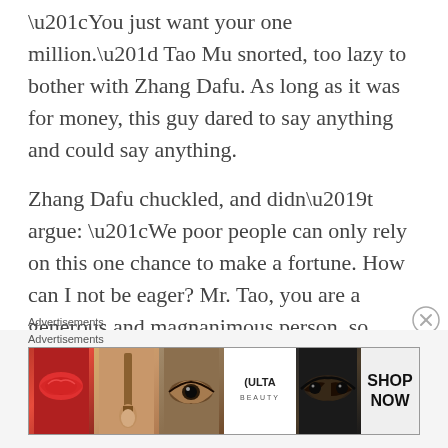“You just want your one million.” Tao Mu snorted, too lazy to bother with Zhang Dafu. As long as it was for money, this guy dared to say anything and could say anything.
Zhang Dafu chuckled, and didn’t argue: “We poor people can only rely on this one chance to make a fortune. How can I not be eager? Mr. Tao, you are a generous and magnanimous person, so please go easy on me and quickly settle this matter. Otherwise I can’t even sleep well at night. To tell you the truth, I haven’t
Advertisements
[Figure (photo): Advertisement banner for ULTA Beauty showing beauty product imagery: lips with red lipstick, makeup brush, eye with eyeshadow, ULTA logo, eyes with makeup, and SHOP NOW call to action]